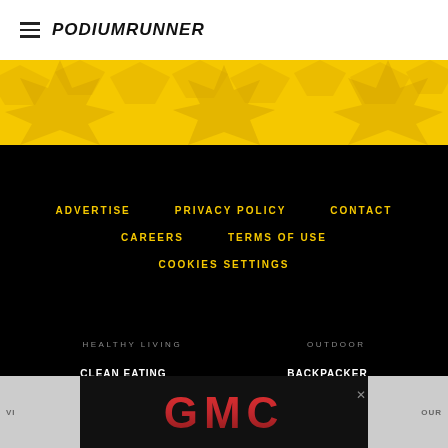PodiumRunner
[Figure (illustration): Yellow banner with decorative star/burst pattern in gold/yellow tones]
ADVERTISE   PRIVACY POLICY   CONTACT   CAREERS   TERMS OF USE   COOKIES SETTINGS
HEALTHY LIVING
OUTDOOR
CLEAN EATING
BACKPACKER
OXYGEN
CLIMBING
[Figure (logo): GMC logo advertisement banner in red metallic text on black background]